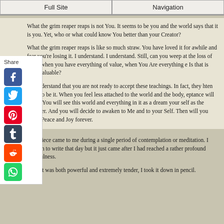Full Site | Navigation
What the grim reaper reaps is not You. It seems to be you and the world says that it is you. Yet, who or what could know You better than your Creator?
What the grim reaper reaps is like so much straw. You have loved it for awhile and fear you’re losing it. I understand. I understand. Still, can you weep at the loss of straw when you have everything of value, when You Are everything e Is that is truly valuable?
understand that you are not ready to accept these teachings. In fact, they hten you. So be it. When you feel less attached to the world and the body, eptance will come. You will see this world and everything in it as a dream your self as the dreamer. And you will decide to awaken to Me and to your Self. Then will you know Peace and Joy forever.
r not the grim reaper. For your Father does not reap but merely sows Love.
onymous
This spiritual piece came to me during a single period of contemplation or meditation. I had no intention to write that day but it just came after I had reached a rather profound state of peacefulness.
Realizing that it was both powerful and extremely tender, I took it down in pencil.